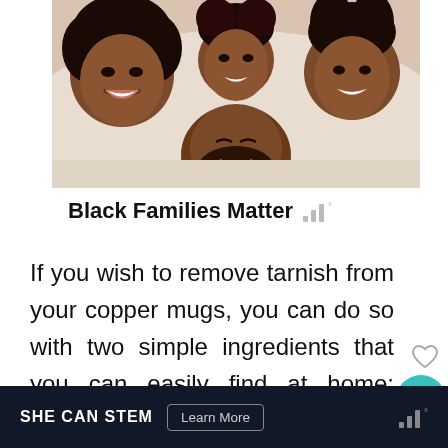[Figure (photo): Family of four people smiling, photographed from above lying on a bed, showing joyful expressions]
Black Families Matter
If you wish to remove tarnish from your copper mugs, you can do so with two simple ingredients that you can easily find at home: lemon and salt.
SHE CAN STEM  Learn More